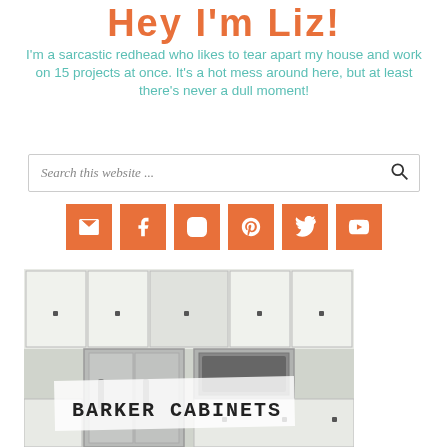Hey I'm Liz!
I'm a sarcastic redhead who likes to tear apart my house and work on 15 projects at once. It's a hot mess around here, but at least there's never a dull moment!
[Figure (screenshot): Search bar with placeholder text 'Search this website ...' and a magnifying glass icon]
[Figure (infographic): Row of 6 orange square social media icon buttons: email, Facebook, Instagram, Pinterest, Twitter, YouTube]
[Figure (photo): Kitchen photo showing white cabinets, stainless steel refrigerator and oven, with a hand-lettered label overlay reading 'BARKER CABINETS']